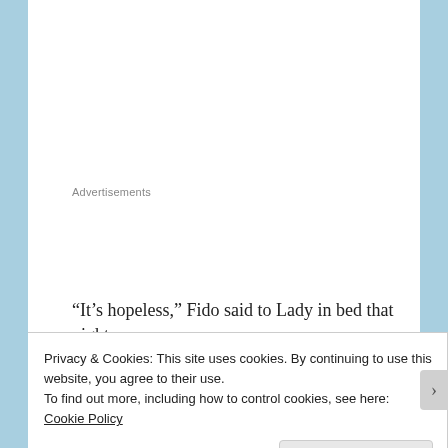Advertisements
“It’s hopeless,” Fido said to Lady in bed that night.
Privacy & Cookies: This site uses cookies. By continuing to use this website, you agree to their use.
To find out more, including how to control cookies, see here: Cookie Policy
Close and accept